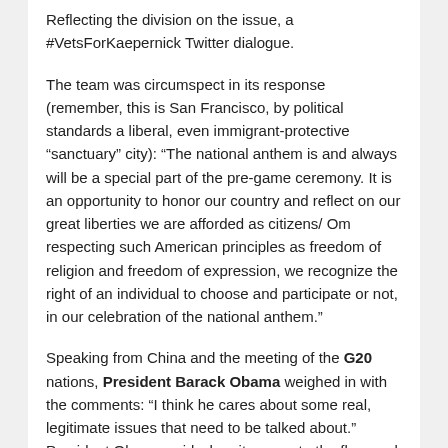Reflecting the division on the issue, a #VetsForKaepernick Twitter dialogue.
The team was circumspect in its response (remember, this is San Francisco, by political standards a liberal, even immigrant-protective “sanctuary” city): “The national anthem is and always will be a special part of the pre-game ceremony. It is an opportunity to honor our country and reflect on our great liberties we are afforded as citizens/ Om respecting such American principles as freedom of religion and freedom of expression, we recognize the right of an individual to choose and participate or not, in our celebration of the national anthem.”
Speaking from China and the meeting of the G20 nations, President Barack Obama weighed in with the comments: “I think he cares about some real, legitimate issues that need to be talked about.” President Obama said when it comes to the flag, and the national anthem, and the meaning that that holds for our men and women in